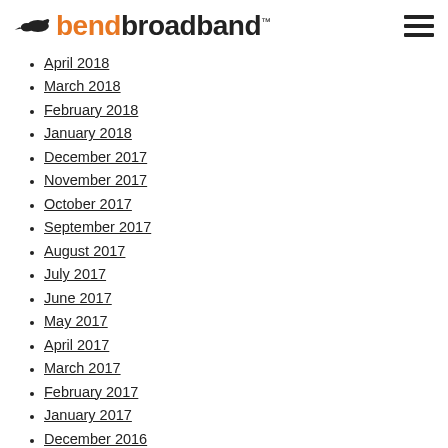bendbroadband
April 2018
March 2018
February 2018
January 2018
December 2017
November 2017
October 2017
September 2017
August 2017
July 2017
June 2017
May 2017
April 2017
March 2017
February 2017
January 2017
December 2016
November 2016
October 2016
September 2016